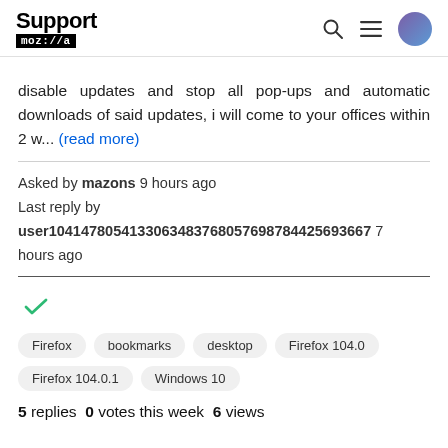Support moz://a
disable updates and stop all pop-ups and automatic downloads of said updates, i will come to your offices within 2 w... (read more)
Asked by mazons 9 hours ago
Last reply by user1041478054133063483768057698784425693667 hours ago
[Figure (other): Green checkmark icon indicating resolved/answered status]
Firefox
bookmarks
desktop
Firefox 104.0
Firefox 104.0.1
Windows 10
5 replies  0 votes this week  6 views